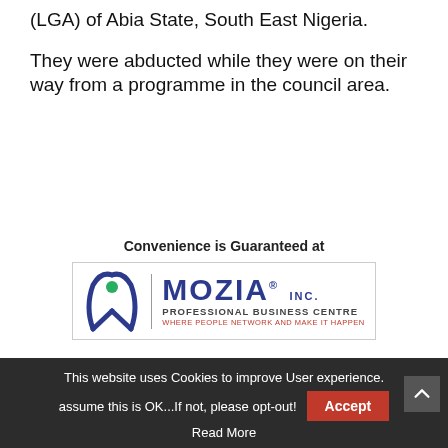(LGA) of Abia State, South East Nigeria.
They were abducted while they were on their way from a programme in the council area.
[Figure (logo): Mozia Inc. Professional Business Centre advertisement with tagline 'Convenience is Guaranteed at' and logo featuring stylized M icon with text 'MOZIA INC. PROFESSIONAL BUSINESS CENTRE WHERE PEOPLE NETWORK AND MAKE IT HAPPEN']
This website uses Cookies to improve User experience. assume this is OK...If not, please opt-out! Accept Read More